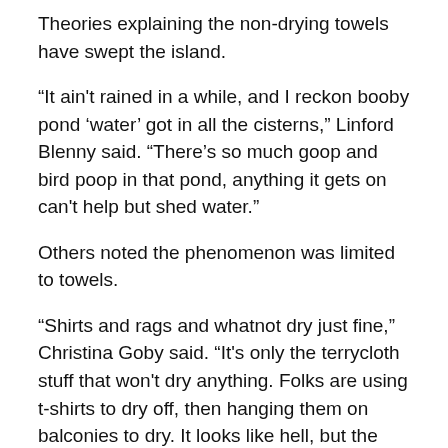Theories explaining the non-drying towels have swept the island.
“It ain't rained in a while, and I reckon booby pond ‘water’ got in all the cisterns,” Linford Blenny said. “There’s so much goop and bird poop in that pond, anything it gets on can't help but shed water.”
Others noted the phenomenon was limited to towels.
“Shirts and rags and whatnot dry just fine,” Christina Goby said. “It's only the terrycloth stuff that won't dry anything. Folks are using t-shirts to dry off, then hanging them on balconies to dry. It looks like hell, but the dive shops are selling shirts and hoodies like crazy.”
Local scientists are studying the phenomenon.